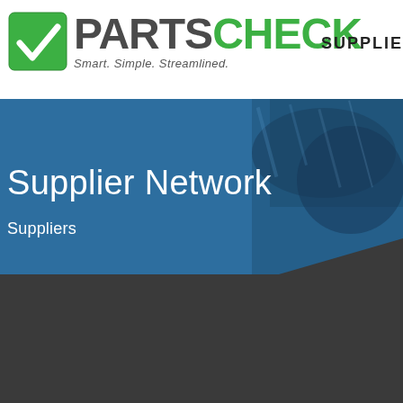[Figure (logo): PartsCheck logo with green checkbox icon and tagline 'Smart. Simple. Streamlined.']
SUPPLIE
[Figure (screenshot): Blue banner with dark diagonal graphic background showing car parts or machinery]
Supplier Network
Suppliers